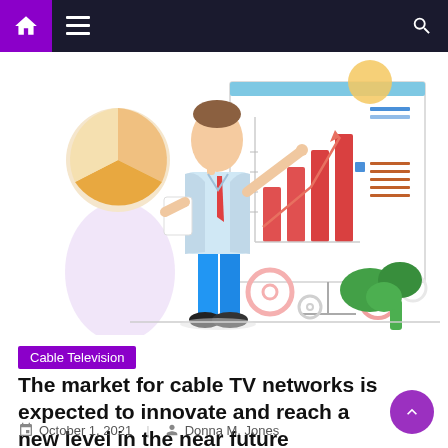Navigation bar with home, menu, and search icons
[Figure (illustration): Business illustration showing a person in a blue suit pointing at a presentation board with bar charts and line graphs, with a pie chart, gear icons, and a green plant in the background]
Cable Television
The market for cable TV networks is expected to innovate and reach a new level in the near future
October 1, 2021   Donna M. Jones